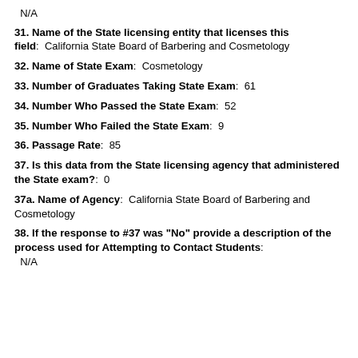N/A
31. Name of the State licensing entity that licenses this field: California State Board of Barbering and Cosmetology
32. Name of State Exam: Cosmetology
33. Number of Graduates Taking State Exam: 61
34. Number Who Passed the State Exam: 52
35. Number Who Failed the State Exam: 9
36. Passage Rate: 85
37. Is this data from the State licensing agency that administered the State exam?: 0
37a. Name of Agency: California State Board of Barbering and Cosmetology
38. If the response to #37 was "No" provide a description of the process used for Attempting to Contact Students: N/A